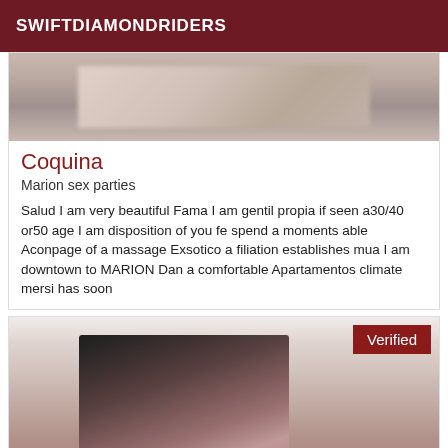SWIFTDIAMONDRIDERS
[Figure (photo): Blurred/cropped photo at top of listing card]
Coquina
Marion sex parties
Salud I am very beautiful Fama I am gentil propia if seen a30/40 or50 age I am disposition of you fe spend a moments able Aconpage of a massage Exsotico a filiation establishes mua I am downtown to MARION Dan a comfortable Apartamentos climate mersi has soon
[Figure (photo): Photo of woman with dark hair in ponytail, with Verified badge overlay]